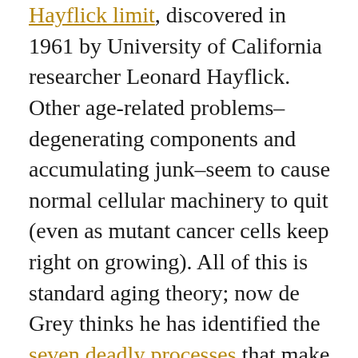Hayflick limit, discovered in 1961 by University of California researcher Leonard Hayflick. Other age-related problems–degenerating components and accumulating junk–seem to cause normal cellular machinery to quit (even as mutant cancer cells keep right on growing). All of this is standard aging theory; now de Grey thinks he has identified the seven deadly processes that make aging lethal. He argues that if researchers would quit fooling around and focus on fixing those seven problems, through gene therapy or other methods, they could stop the runaway train of aging. Let others figure out how the locomotive